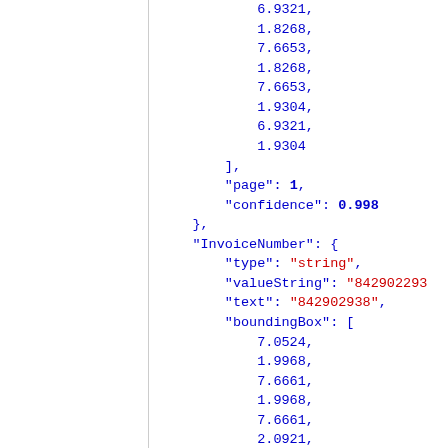6.9321,
1.8268,
7.6653,
1.8268,
7.6653,
1.9304,
6.9321,
1.9304
],
"page": 1,
"confidence": 0.998
},
"InvoiceNumber": {
    "type": "string",
    "valueString": "842902938",
    "text": "842902938",
    "boundingBox": [
        7.0524,
        1.9968,
        7.6661,
        1.9968,
        7.6661,
        2.0921,
        7.0524,
        2.0921